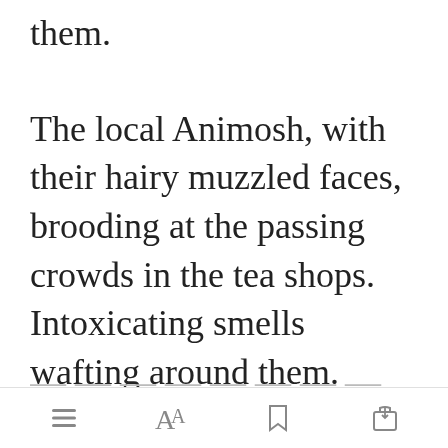them.
The local Animosh, with their hairy muzzled faces, brooding at the passing crowds in the tea shops. Intoxicating smells wafting around them.
All kinds of vendors and booths would set up every day. Entertainment [Open in app] ingers,
[menu icon] [font icon] [bookmark icon] [share icon]